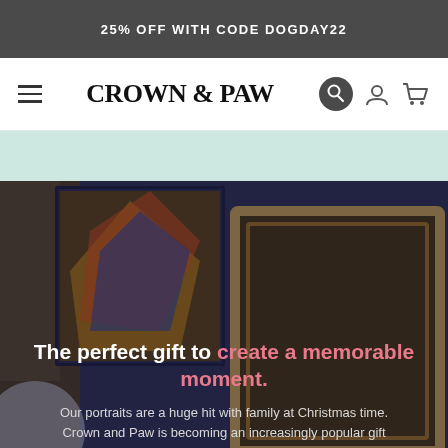25% OFF WITH CODE DOGDAY22
CROWN & PAW
[Figure (photo): Hero image showing framed pet portraits in a collage layout, with a dog visible on the left side and decorative gold-framed artwork on the right. Dark overlay applied.]
The perfect gift to create a memorable moment.
Our portraits are a huge hit with family at Christmas time. Crown and Paw is becoming an increasingly popular gift during the holidays.